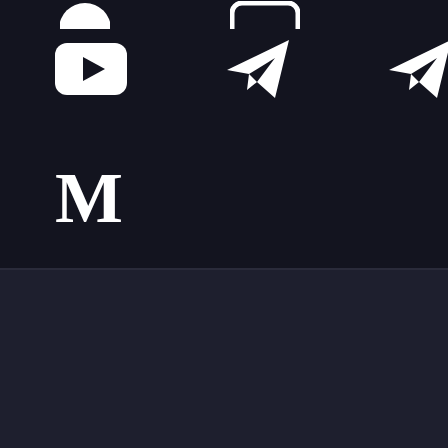[Figure (screenshot): Dark background section with social media icons: YouTube logo (rounded rectangle with play button), two Telegram paper plane icons, and Medium 'M' logo arranged in rows]
We use cookies on our website to give you the most relevant experience by remembering your preferences and repeat visits. By clicking “Accept All”, you consent to the use of ALL the cookies. However, you may visit "Cookie Settings" to provide a controlled consent.
Cookie Settings
Accept All